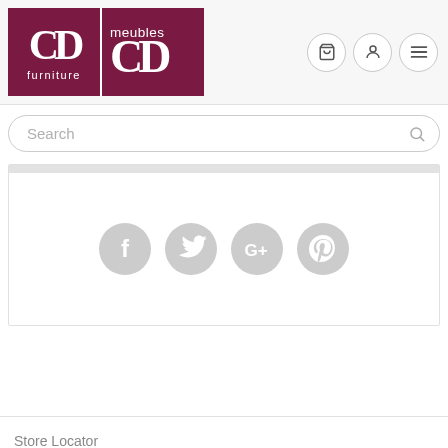[Figure (logo): CD Furniture and Meubles CD logo — two dark maroon/burgundy square blocks side by side. Left block shows 'CD' in large serif white letters with 'furniture' below in smaller white sans-serif. Right block shows 'meubles' in small white sans-serif above 'CD' in large serif white letters.]
Search
[Figure (infographic): Four gray circular social media icons: Facebook (f), Twitter (bird), Google+ (G+), Pinterest (P)]
Store Locator
My Wishlist